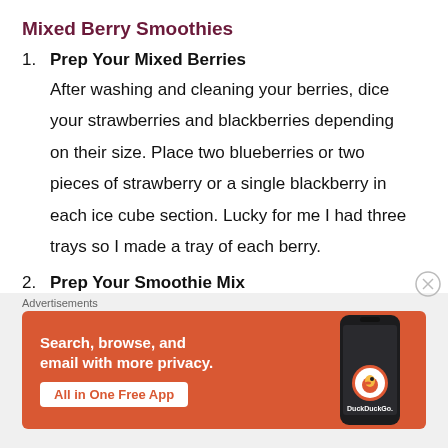Mixed Berry Smoothies
1. Prep Your Mixed Berries
After washing and cleaning your berries, dice your strawberries and blackberries depending on their size. Place two blueberries or two pieces of strawberry or a single blackberry in each ice cube section. Lucky for me I had three trays so I made a tray of each berry.
2. Prep Your Smoothie Mix
[Figure (screenshot): DuckDuckGo advertisement banner with orange background, showing text 'Search, browse, and email with more privacy. All in One Free App' with a phone graphic and DuckDuckGo logo.]